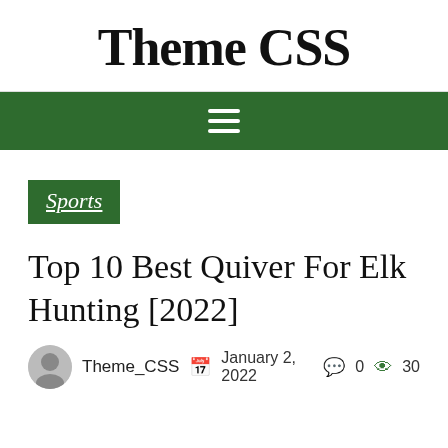Theme CSS
[Figure (other): Dark green navigation bar with white hamburger menu icon (three horizontal lines)]
Sports
Top 10 Best Quiver For Elk Hunting [2022]
Theme_CSS  January 2, 2022  0  30